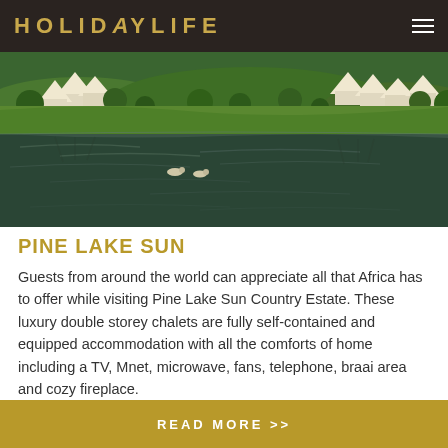HOLIDAYLIFE
[Figure (photo): Aerial view of Pine Lake Sun Country Estate showing A-frame chalets on green hillside with large lake and reflections in foreground, trees throughout the estate]
PINE LAKE SUN
Guests from around the world can appreciate all that Africa has to offer while visiting Pine Lake Sun Country Estate. These luxury double storey chalets are fully self-contained and equipped accommodation with all the comforts of home including a TV, Mnet, microwave, fans, telephone, braai area and cozy fireplace.
READ MORE >>